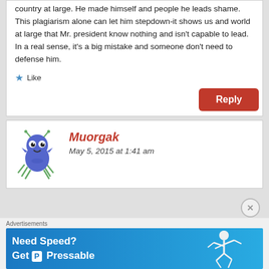country at large. He made himself and people he leads shame. This plagiarism alone can let him stepdown-it shows us and world at large that Mr. president know nothing and isn't capable to lead. In a real sense, it's a big mistake and someone don't need to defense him.
★ Like
Reply
Muorgak
May 5, 2015 at 1:41 am
Advertisements
[Figure (screenshot): Advertisement banner: Need Speed? Get Pressable. Blue background with a running figure.]